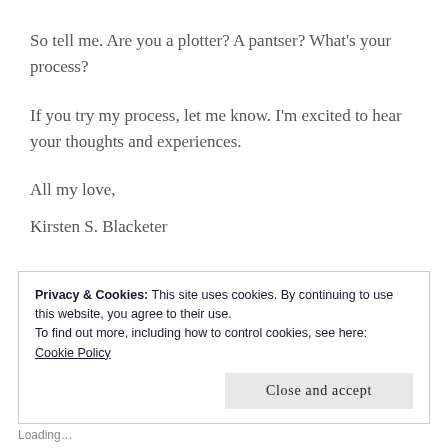So tell me. Are you a plotter? A pantser? What's your process?
If you try my process, let me know. I'm excited to hear your thoughts and experiences.
All my love,
Kirsten S. Blacketer
Privacy & Cookies: This site uses cookies. By continuing to use this website, you agree to their use.
To find out more, including how to control cookies, see here:
Cookie Policy
Close and accept
Loading...